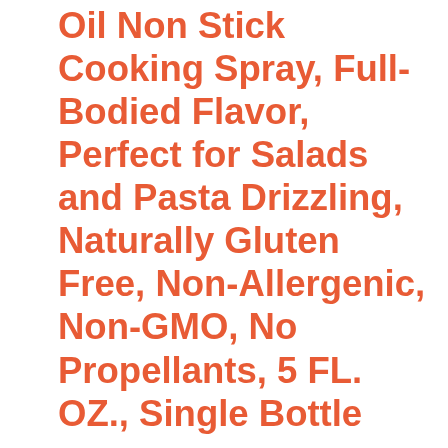Oil Non Stick Cooking Spray, Full-Bodied Flavor, Perfect for Salads and Pasta Drizzling, Naturally Gluten Free, Non-Allergenic, Non-GMO, No Propellants, 5 FL. OZ., Single Bottle
Eco-friendly, non-stick cooking spray
No propellants or artificial additives
Harvested from olives grown under conditions that help protect the